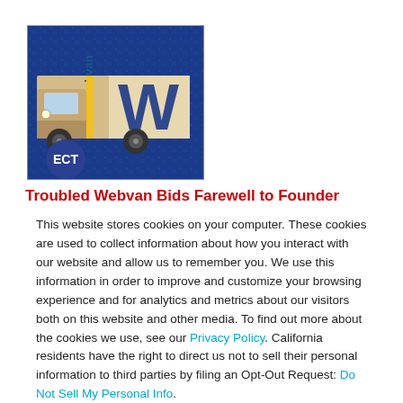[Figure (photo): A Webvan delivery truck with the blue and yellow Webvan logo on the side, set against a blue digital/binary background. ECT logo badge in the lower left corner.]
Troubled Webvan Bids Farewell to Founder
This website stores cookies on your computer. These cookies are used to collect information about how you interact with our website and allow us to remember you. We use this information in order to improve and customize your browsing experience and for analytics and metrics about our visitors both on this website and other media. To find out more about the cookies we use, see our Privacy Policy. California residents have the right to direct us not to sell their personal information to third parties by filing an Opt-Out Request: Do Not Sell My Personal Info.